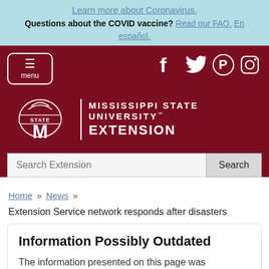Learn more about Coronavirus. Questions about the COVID vaccine? Read our FAQ. En español.
[Figure (screenshot): Mississippi State University Extension website header with maroon background, hamburger menu button, social media icons (Facebook, Twitter, Pinterest, Instagram), MSU logo with STATE bell and M logo, and search bar.]
Home » News »
Extension Service network responds after disasters
Information Possibly Outdated
The information presented on this page was